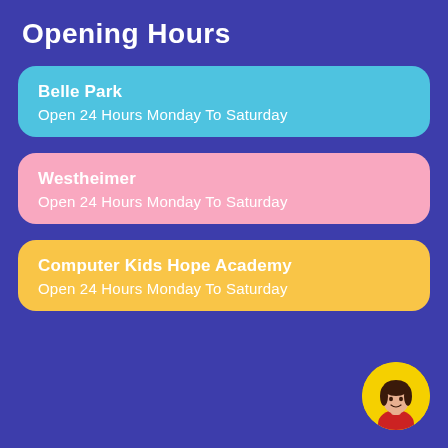Opening Hours
Belle Park
Open 24 Hours Monday To Saturday
Westheimer
Open 24 Hours Monday To Saturday
Computer Kids Hope Academy
Open 24 Hours Monday To Saturday
[Figure (illustration): Circular avatar of a woman with dark hair wearing a red top, set against a yellow circular background, positioned in the bottom-right corner.]